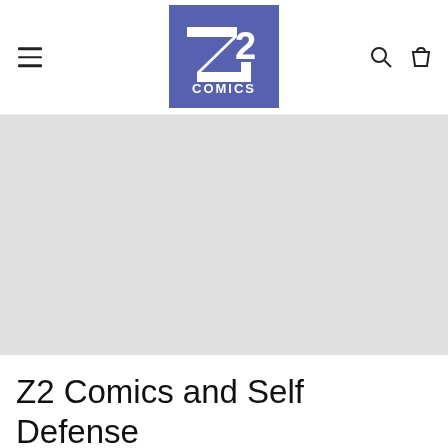Z2 Comics navigation header with hamburger menu, Z2 Comics logo, search and cart icons
[Figure (illustration): Light gray rectangular placeholder area for product image]
Z2 Comics and Self Defense